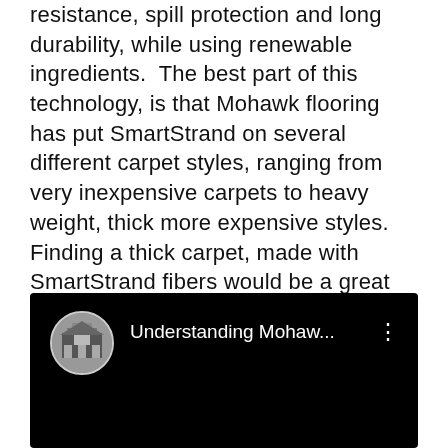resistance, spill protection and long durability, while using renewable ingredients.  The best part of this technology, is that Mohawk flooring has put SmartStrand on several different carpet styles, ranging from very inexpensive carpets to heavy weight, thick more expensive styles. Finding a thick carpet, made with SmartStrand fibers would be a great option for a bedroom. We have a great article, "SmartStrand Carpet Cleaning Guide," that goes in to this product in detail.
[Figure (screenshot): Embedded YouTube video thumbnail with black background showing a circular avatar of a building/store and the title 'Understanding Mohaw...' with a three-dot menu icon.]